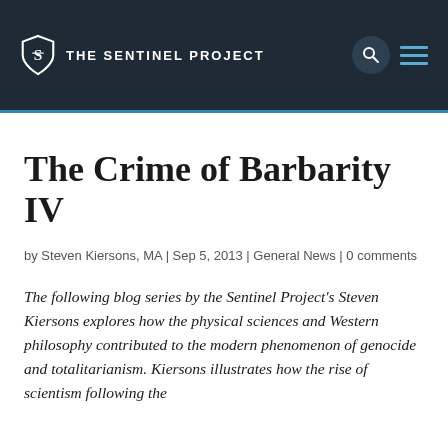THE SENTINEL PROJECT
The Crime of Barbarity IV
by Steven Kiersons, MA | Sep 5, 2013 | General News | 0 comments
The following blog series by the Sentinel Project's Steven Kiersons explores how the physical sciences and Western philosophy contributed to the modern phenomenon of genocide and totalitarianism. Kiersons illustrates how the rise of scientism following the